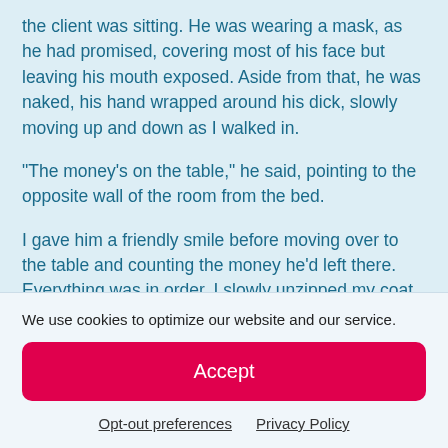the client was sitting. He was wearing a mask, as he had promised, covering most of his face but leaving his mouth exposed. Aside from that, he was naked, his hand wrapped around his dick, slowly moving up and down as I walked in.
“The money’s on the table,” he said, pointing to the opposite wall of the room from the bed.
I gave him a friendly smile before moving over to the table and counting the money he’d left there. Everything was in order. I slowly unzipped my coat, pulling it down just past my shoulders, standing with my back to the bed. I looked behind me and noticed the client staring intently, still
We use cookies to optimize our website and our service.
Accept
Opt-out preferences   Privacy Policy